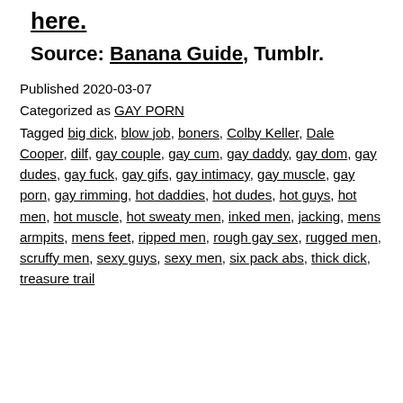here.
Source: Banana Guide, Tumblr.
Published 2020-03-07
Categorized as GAY PORN
Tagged big dick, blow job, boners, Colby Keller, Dale Cooper, dilf, gay couple, gay cum, gay daddy, gay dom, gay dudes, gay fuck, gay gifs, gay intimacy, gay muscle, gay porn, gay rimming, hot daddies, hot dudes, hot guys, hot men, hot muscle, hot sweaty men, inked men, jacking, mens armpits, mens feet, ripped men, rough gay sex, rugged men, scruffy men, sexy guys, sexy men, six pack abs, thick dick, treasure trail